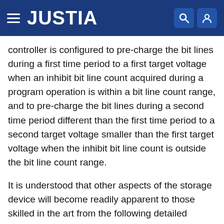JUSTIA
controller is configured to pre-charge the bit lines during a first time period to a first target voltage when an inhibit bit line count acquired during a program operation is within a bit line count range, and to pre-charge the bit lines during a second time period different than the first time period to a second target voltage smaller than the first target voltage when the inhibit bit line count is outside the bit line count range.
It is understood that other aspects of the storage device will become readily apparent to those skilled in the art from the following detailed description, wherein various aspects of apparatuses and methods are shown and described by way of illustration. As will be realized, these aspects may be implemented in other and different forms and its several details are capable of modification in various other respects. Accordingly, the drawings and